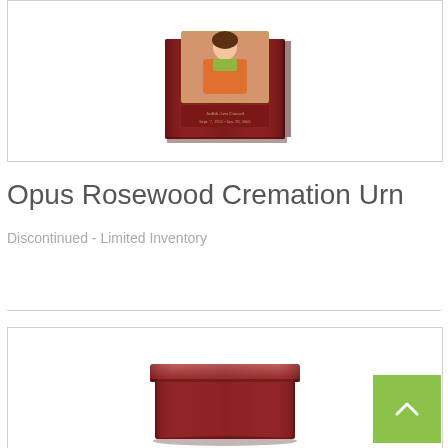[Figure (photo): Photo of an Opus Rosewood Cremation Urn — a dark rosewood box with a photo frame insert showing a woman in an orange shirt, with engraved text 'Judith Ann Conard Sept. 7, 1955 - Jan. 29, 2005']
Opus Rosewood Cremation Urn
Discontinued - Limited Inventory
[Figure (photo): Photo of a plain rosewood cremation urn box, dark reddish-brown polished wood with a simple rectangular shape]